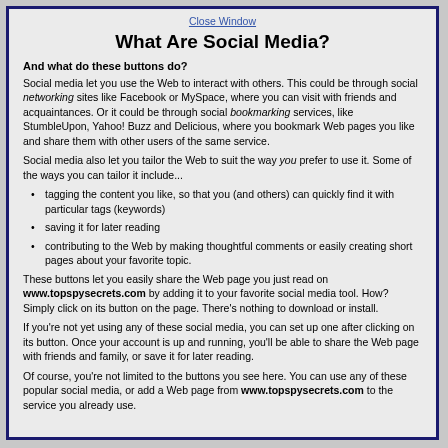Close Window
What Are Social Media?
And what do these buttons do?
Social media let you use the Web to interact with others. This could be through social networking sites like Facebook or MySpace, where you can visit with friends and acquaintances. Or it could be through social bookmarking services, like StumbleUpon, Yahoo! Buzz and Delicious, where you bookmark Web pages you like and share them with other users of the same service.
Social media also let you tailor the Web to suit the way you prefer to use it. Some of the ways you can tailor it include...
tagging the content you like, so that you (and others) can quickly find it with particular tags (keywords)
saving it for later reading
contributing to the Web by making thoughtful comments or easily creating short pages about your favorite topic.
These buttons let you easily share the Web page you just read on www.topspysecrets.com by adding it to your favorite social media tool. How? Simply click on its button on the page. There's nothing to download or install.
If you're not yet using any of these social media, you can set up one after clicking on its button. Once your account is up and running, you'll be able to share the Web page with friends and family, or save it for later reading.
Of course, you're not limited to the buttons you see here. You can use any of these popular social media, or add a Web page from www.topspysecrets.com to the service you already use.